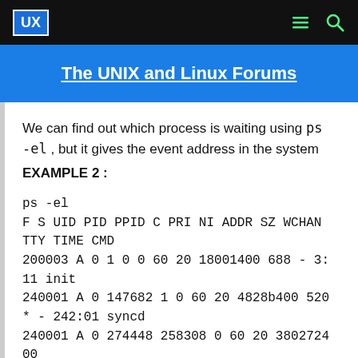UX | The UNIX and Linux Forums
We can find out which process is waiting using ps -el , but it gives the event address in the system
EXAMPLE 2 :
ps -el
F S UID PID PPID C PRI NI ADDR SZ WCHAN TTY TIME CMD
200003 A 0 1 0 0 60 20 18001400 688 - 3:11 init
240001 A 0 147682 1 0 60 20 4828b400 520 * - 242:01 syncd
240001 A 0 274448 258308 0 60 20 380272400